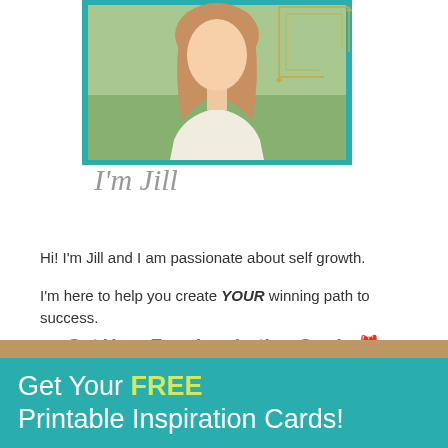[Figure (photo): Portrait photo of a young woman with reddish-blonde hair outdoors, framed in a teal border card with gold decorative corner accents, and a cursive signature reading I'm Jill below]
Hi! I'm Jill and I am passionate about self growth.
I'm here to help you create YOUR winning path to success.
Get Your Free Inspiration Cards 🎁
[Figure (infographic): Teal banner with text: Get Your FREE Printable Inspiration Cards! with FREE in yellow-green and the rest in white, with a wooden surface visible at top]